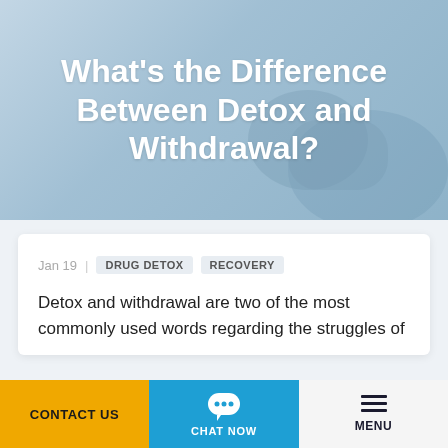What's the Difference Between Detox and Withdrawal?
Jan 19 | DRUG DETOX  RECOVERY
Detox and withdrawal are two of the most commonly used words regarding the struggles of
CONTACT US
CHAT NOW
MENU